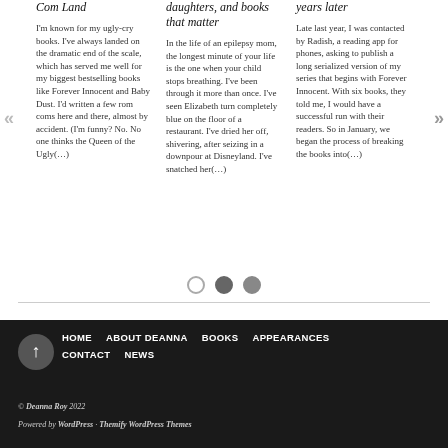Com Land
I'm known for my ugly-cry books. I've always landed on the dramatic end of the scale, which has served me well for my biggest bestselling books like Forever Innocent and Baby Dust. I'd written a few rom coms here and there, almost by accident. (I'm funny? No. No one thinks the Queen of the Ugly(…)
daughters, and books that matter
In the life of an epilepsy mom, the longest minute of your life is the one when your child stops breathing. I've been through it more than once. I've seen Elizabeth turn completely blue on the floor of a restaurant. I've dried her off, shivering, after seizing in a downpour at Disneyland. I've snatched her(…)
years later
Late last year, I was contacted by Radish, a reading app for phones, asking to publish a long serialized version of my series that begins with Forever Innocent. With six books, they told me, I would have a successful run with their readers. So in January, we began the process of breaking the books into(…)
HOME   ABOUT DEANNA   BOOKS   APPEARANCES   CONTACT   NEWS
© Deanna Roy 2022
Powered by WordPress · Themify WordPress Themes